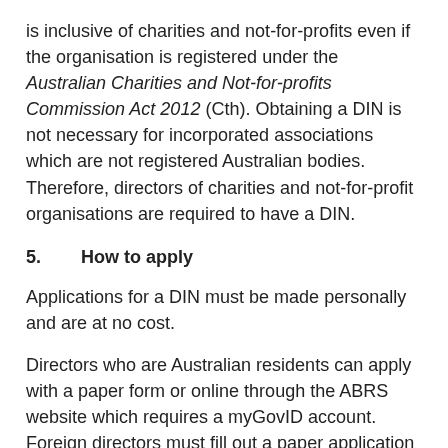is inclusive of charities and not-for-profits even if the organisation is registered under the Australian Charities and Not-for-profits Commission Act 2012 (Cth). Obtaining a DIN is not necessary for incorporated associations which are not registered Australian bodies. Therefore, directors of charities and not-for-profit organisations are required to have a DIN.
5.        How to apply
Applications for a DIN must be made personally and are at no cost.
Directors who are Australian residents can apply with a paper form or online through the ABRS website which requires a myGovID account. Foreign directors must fill out a paper application with the necessary identity documentation.